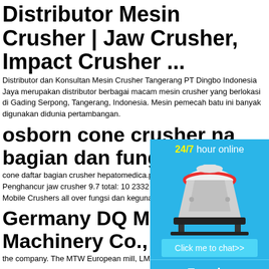Distributor Mesin Crusher | Jaw Crusher, Impact Crusher ...
Distributor dan Konsultan Mesin Crusher Tangerang PT Dingbo Indonesia Jaya merupakan distributor berbagai macam mesin crusher yang berlokasi di Gading Serpong, Tangerang, Indonesia. Mesin pemecah batu ini banyak digunakan didunia pertambangan.
osborn cone crusher na bagian dan fungsi
cone daftar bagian crusher hepatomedica.p Bagian Jaw Crusher Indonesia Penghancur jaw crusher 9.7 total: 10 2332 peringkat 46 kegunaan crusher Mobile Crushers all over fungsi dan kegunaan crusher.
[Figure (illustration): Blue sidebar widget showing a cone crusher machine image with '24/7 hour online' text, 'Click me to chat>>' button, 'Enquiry' button, and 'limingjlmofen' bar at the bottom.]
Germany DQ Mining E Machinery Co., Ltd.
the company. The MTW European mill, LM